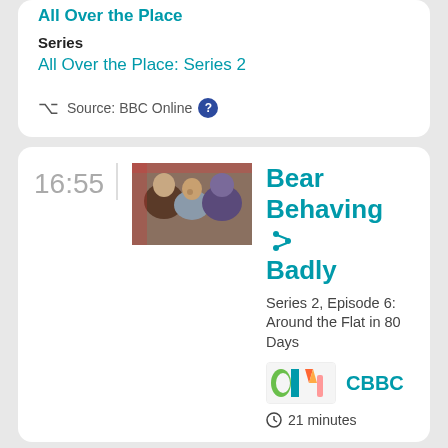All Over the Place
Series
All Over the Place: Series 2
Source: BBC Online
16:55
[Figure (photo): Photo of three people posing together, two men and someone in a bear costume, sitting close together]
Bear Behaving Badly
Series 2, Episode 6: Around the Flat in 80 Days
[Figure (logo): CBBC channel logo with colorful shapes]
CBBC
21 minutes